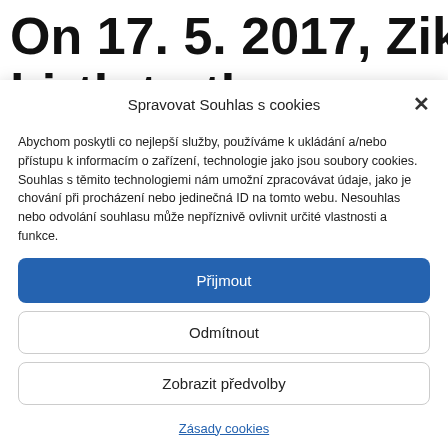On 17. 5. 2017, Ziki had given birth to the modified.
Spravovat Souhlas s cookies
Abychom poskytli co nejlepší služby, používáme k ukládání a/nebo přístupu k informacím o zařízení, technologie jako jsou soubory cookies. Souhlas s těmito technologiemi nám umožní zpracovávat údaje, jako je chování při procházení nebo jedinečná ID na tomto webu. Nesouhlas nebo odvolání souhlasu může nepříznivě ovlivnit určité vlastnosti a funkce.
Přijmout
Odmítnout
Zobrazit předvolby
Zásady cookies